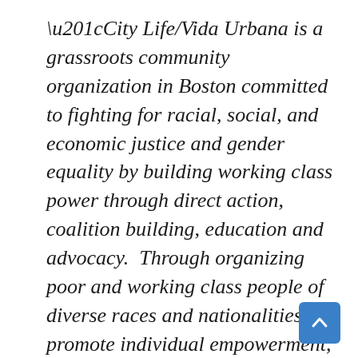“City Life/Vida Urbana is a grassroots community organization in Boston committed to fighting for racial, social, and economic justice and gender equality by building working class power through direct action, coalition building, education and advocacy.  Through organizing poor and working class people of diverse races and nationalities;we promote individual empowerment, develop community leaders, and build collective power to effect